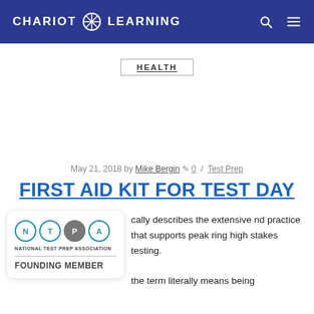CHARIOT LEARNING
HEALTH
May 21, 2018 by Mike Bergin 0 / Test Prep
FIRST AID KIT FOR TEST DAY
[Figure (logo): National Test Prep Association Founding Member badge with N T P A circles]
cally describes the extensive nd practice that supports peak ring high stakes testing. the term literally means being